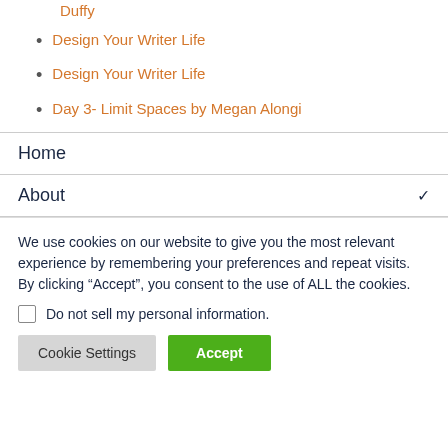Duffy
Design Your Writer Life
Design Your Writer Life
Day 3- Limit Spaces by Megan Alongi
Home
About
We use cookies on our website to give you the most relevant experience by remembering your preferences and repeat visits. By clicking “Accept”, you consent to the use of ALL the cookies.
Do not sell my personal information.
Cookie Settings
Accept